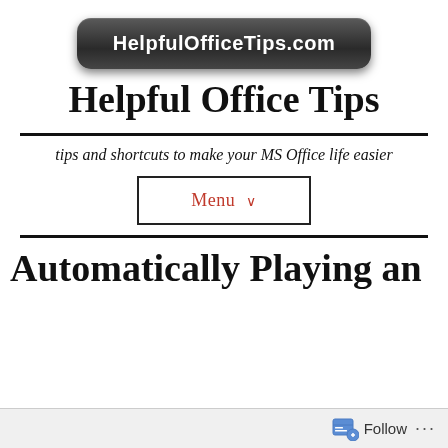[Figure (logo): Dark rounded rectangle button with white bold text reading HelpfulOfficeTips.com]
Helpful Office Tips
tips and shortcuts to make your MS Office life easier
Menu ∨
Automatically Playing an
Follow ...